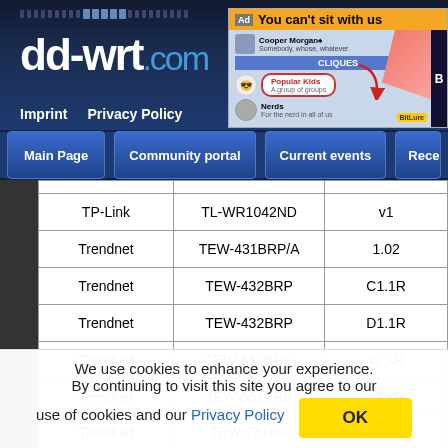dd-wrt.com
[Figure (screenshot): Advertisement banner: 'You can't sit with us' - social network cliques ad with AntiVirus branding]
Imprint   Privacy Policy
Main Page | Community portal | Current events | Recent changes
|  |  |  |
| --- | --- | --- |
| TP-Link | TL-WR1042ND | v1 |
| Trendnet | TEW-431BRP/A | 1.02 |
| Trendnet | TEW-432BRP | C1.1R |
| Trendnet | TEW-432BRP | D1.1R |
| Trendnet | TEW-652BRP | v2.xR |
| Trendnet | TEW-652BRP | v3.xR |
| Trendnet | TEW-731BR | v1.xR |
We use cookies to enhance your experience. By continuing to visit this site you agree to our use of cookies and our Privacy Policy